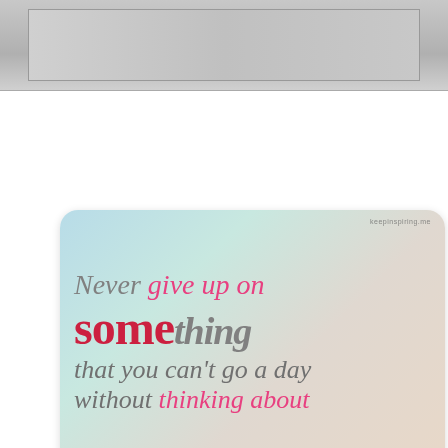[Figure (photo): Gray/silver background image at top of page, partially visible]
[Figure (illustration): Inspirational quote card with pastel/teal background: 'Never give up on something that you can't go a day without thinking about' with mixed gray and pink/red colored text]
[Figure (illustration): Dark charcoal background card with gold bold text reading 'I CHOOSE...' and smaller text below, partially cut off]